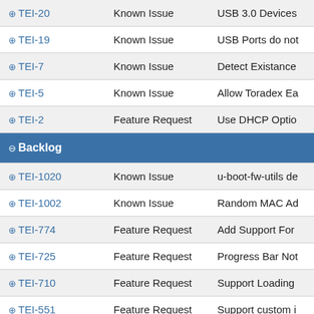| Issue | Type | Summary |
| --- | --- | --- |
| ⊕ TEI-20 | Known Issue | USB 3.0 Devices |
| ⊕ TEI-19 | Known Issue | USB Ports do not |
| ⊕ TEI-7 | Known Issue | Detect Existance |
| ⊕ TEI-5 | Known Issue | Allow Toradex Ea |
| ⊕ TEI-2 | Feature Request | Use DHCP Optio |
| ⊖ Backlog |  |  |
| ⊕ TEI-1020 | Known Issue | u-boot-fw-utils de |
| ⊕ TEI-1002 | Known Issue | Random MAC Ad |
| ⊕ TEI-774 | Feature Request | Add Support For |
| ⊕ TEI-725 | Feature Request | Progress Bar Not |
| ⊕ TEI-710 | Feature Request | Support Loading |
| ⊕ TEI-551 | Feature Request | Support custom i |